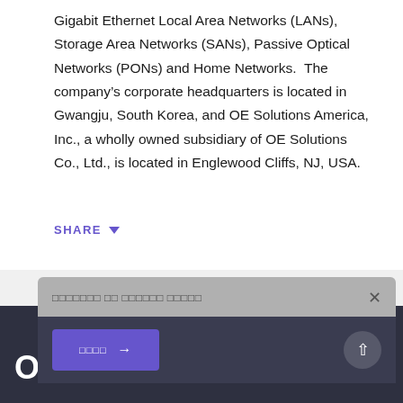Gigabit Ethernet Local Area Networks (LANs), Storage Area Networks (SANs), Passive Optical Networks (PONs) and Home Networks.  The company's corporate headquarters is located in Gwangju, South Korea, and OE Solutions America, Inc., a wholly owned subsidiary of OE Solutions Co., Ltd., is located in Englewood Cliffs, NJ, USA.
SHARE ▾
□□□□□□□ □□ □□□□□□ □□□□□
□□□□ →
[Figure (logo): OE Solutions logo: 'OE' text followed by a long dash and asterisk symbol in white on dark background]